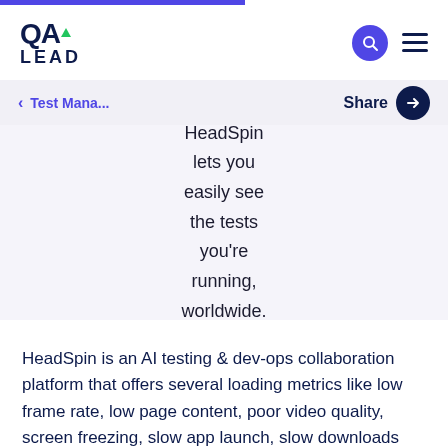QA LEAD
< Test Mana...
Share
HeadSpin lets you easily see the tests you're running, worldwide.
HeadSpin is an AI testing & dev-ops collaboration platform that offers several loading metrics like low frame rate, low page content, poor video quality, screen freezing, slow app launch, slow downloads that can